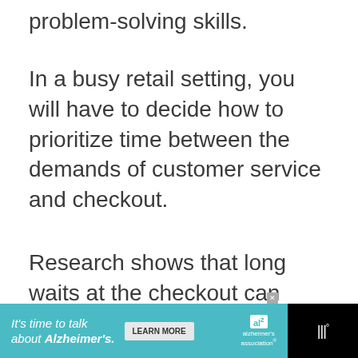problem-solving skills.
In a busy retail setting, you will have to decide how to prioritize time between the demands of customer service and checkout.
Research shows that long waits at the checkout can influence customer perceptions negatively.
[Figure (other): Advertisement banner for Alzheimer's Association: 'It's time to talk about Alzheimer's.' with a Learn More button and Alzheimer's Association logo on a teal background with black sides.]